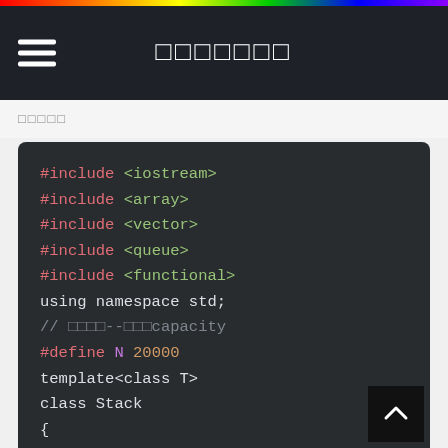□□□□□□□
□□□□□
#include <iostream>
#include <array>
#include <vector>
#include <queue>
#include <functional>
using namespace std;
// □□□□--□□□capacity
#define N 20000
template<class T>
class Stack
{


private:
    T _a[N];
    size_t _top;
};